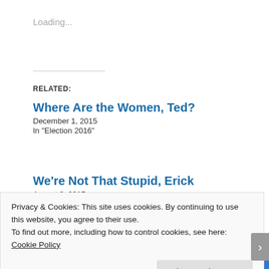Loading...
RELATED:
Where Are the Women, Ted?
December 1, 2015
In "Election 2016"
We're Not That Stupid, Erick
August 8, 2015
In "Feminism"
Two Bad Memes Doesn't Make a Right
Privacy & Cookies: This site uses cookies. By continuing to use this website, you agree to their use.
To find out more, including how to control cookies, see here:
Cookie Policy
Close and accept